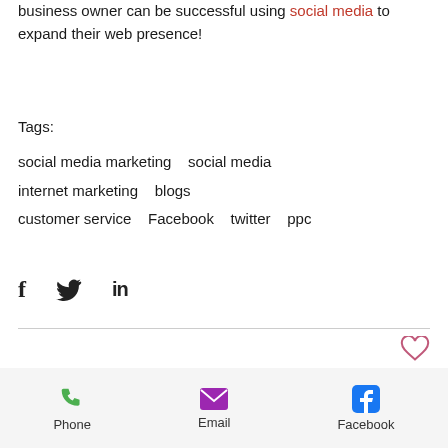business owner can be successful using social media to expand their web presence!
Tags:
social media marketing   social media   internet marketing   blogs   customer service   Facebook   twitter   ppc
[Figure (infographic): Social share icons: Facebook (f), Twitter (bird), LinkedIn (in)]
[Figure (infographic): Heart/like icon outline in red-pink]
[Figure (infographic): Pinterest button with Pinterest logo icon]
Phone   Email   Facebook